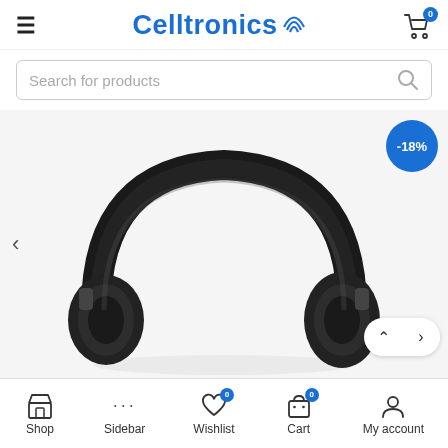Celltronics
Search for products
[Figure (photo): Close-up photo of black over-ear wireless headphones on white background, showing the headband and ear cups. A blue discount badge showing -18% is in the top-right corner.]
Shop | Sidebar | Wishlist | Cart | My account